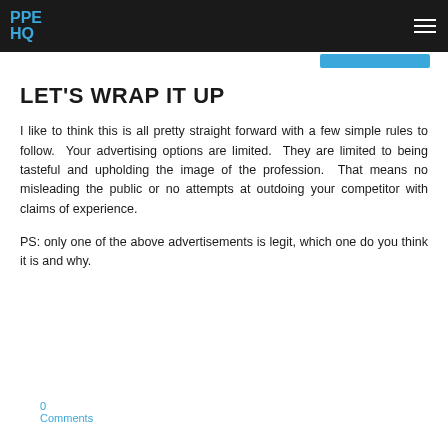PPE HQ
LET'S WRAP IT UP
I like to think this is all pretty straight forward with a few simple rules to follow.  Your advertising options are limited.  They are limited to being tasteful and upholding the image of the profession.  That means no misleading the public or no attempts at outdoing your competitor with claims of experience.
PS: only one of the above advertisements is legit, which one do you think it is and why.
0 Comments